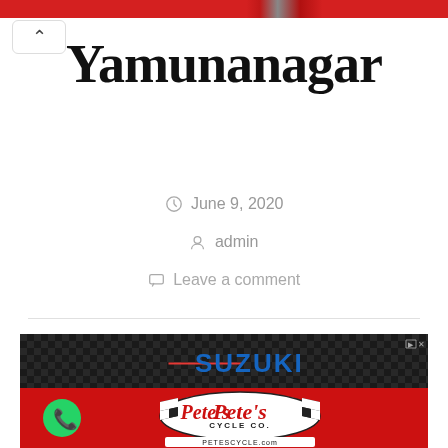Yamunanagar
June 9, 2020
admin
Leave a comment
[Figure (advertisement): Suzuki advertisement banner with checkered background and blue Suzuki text logo]
[Figure (advertisement): Pete's Cycle Co. advertisement on red background with checkered racing flag logo and PETESCYCLE.com URL]